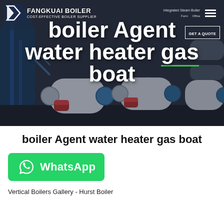[Figure (photo): Hero banner showing industrial gas boilers (white cylindrical horizontal boilers with blue structural frames) in a dark-toned facility background, with overlaid navigation bar and large white text.]
boiler Agent water heater gas boat
[Figure (logo): WhatsApp button: green rounded rectangle with WhatsApp phone icon and text 'WhatsApp' in white.]
Vertical Boilers Gallery - Hurst Boiler